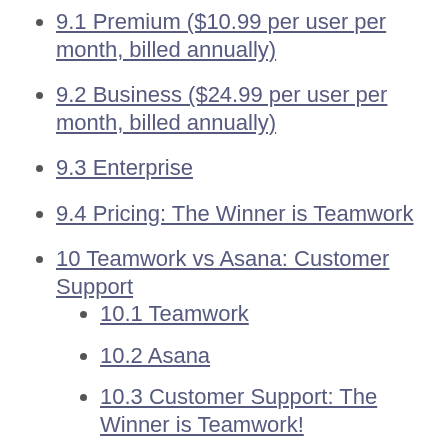9.1 Premium ($10.99 per user per month, billed annually)
9.2 Business ($24.99 per user per month, billed annually)
9.3 Enterprise
9.4 Pricing: The Winner is Teamwork
10 Teamwork vs Asana: Customer Support
10.1 Teamwork
10.2 Asana
10.3 Customer Support: The Winner is Teamwork!